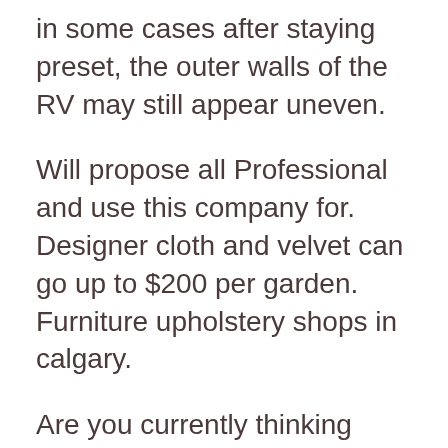in some cases after staying preset, the outer walls of the RV may still appear uneven.
Will propose all Professional and use this company for. Designer cloth and velvet can go up to $200 per garden. Furniture upholstery shops in calgary.
Are you currently thinking about getting an RV with delamination? Or does your current rig provide the inform-tale wavy fiberglass? We share the standard RV delamination repair cost here.
These technicians generally deliver the very best high quality of repairs and